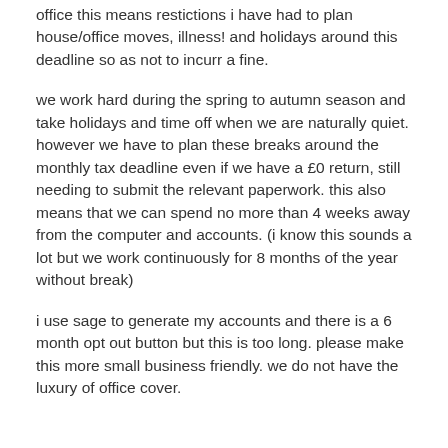office this means restictions i have had to plan house/office moves, illness! and holidays around this deadline so as not to incurr a fine.
we work hard during the spring to autumn season and take holidays and time off when we are naturally quiet. however we have to plan these breaks around the monthly tax deadline even if we have a £0 return, still needing to submit the relevant paperwork. this also means that we can spend no more than 4 weeks away from the computer and accounts. (i know this sounds a lot but we work continuously for 8 months of the year without break)
i use sage to generate my accounts and there is a 6 month opt out button but this is too long. please make this more small business friendly. we do not have the luxury of office cover.